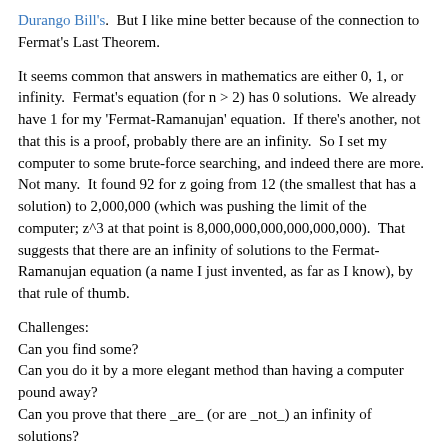Durango Bill's.  But I like mine better because of the connection to Fermat's Last Theorem.
It seems common that answers in mathematics are either 0, 1, or infinity.  Fermat's equation (for n > 2) has 0 solutions.  We already have 1 for my 'Fermat-Ramanujan' equation.  If there's another, not that this is a proof, probably there are an infinity.  So I set my computer to some brute-force searching, and indeed there are more.  Not many.  It found 92 for z going from 12 (the smallest that has a solution) to 2,000,000 (which was pushing the limit of the computer; z^3 at that point is 8,000,000,000,000,000,000).  That suggests that there are an infinity of solutions to the Fermat-Ramanujan equation (a name I just invented, as far as I know), by that rule of thumb.
Challenges:
Can you find some?
Can you do it by a more elegant method than having a computer pound away?
Can you prove that there _are_ (or are _not_) an infinity of solutions?